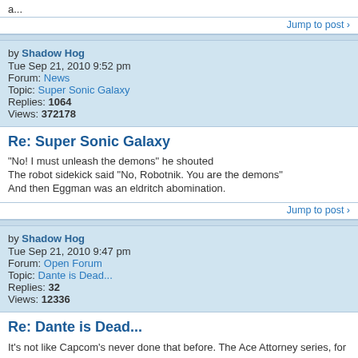a...
Jump to post
by Shadow Hog
Tue Sep 21, 2010 9:52 pm
Forum: News
Topic: Super Sonic Galaxy
Replies: 1064
Views: 372178
Re: Super Sonic Galaxy
"No! I must unleash the demons" he shouted
The robot sidekick said "No, Robotnik. You are the demons"
And then Eggman was an eldritch abomination.
Jump to post
by Shadow Hog
Tue Sep 21, 2010 9:47 pm
Forum: Open Forum
Topic: Dante is Dead...
Replies: 32
Views: 12336
Re: Dante is Dead...
It's not like Capcom's never done that before. The Ace Attorney series, for instance. The first game sets up the backstories for both Phoenix Wright and Miles Edgeworth pretty handily. Then Trials and Tribulations (the third one) goes and tosses in even more for both men (college years for Wright, a...